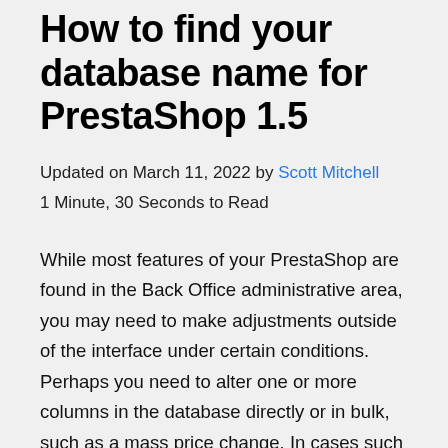How to find your database name for PrestaShop 1.5
Updated on March 11, 2022 by Scott Mitchell
1 Minute, 30 Seconds to Read
While most features of your PrestaShop are found in the Back Office administrative area, you may need to make adjustments outside of the interface under certain conditions. Perhaps you need to alter one or more columns in the database directly or in bulk, such as a mass price change. In cases such as this, you will need to know which database to connect your database management tool, such as phpMyAdmin, to. Below is a set of